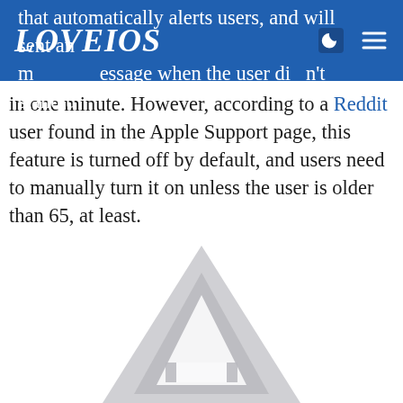LOVEIOS
that automatically alerts users, and will sent an message when the user didn't stand up in one minute. However, according to a Reddit user found in the Apple Support page, this feature is turned off by default, and users need to manually turn it on unless the user is older than 65, at least.
[Figure (illustration): Partial view of a triangular warning/navigation icon in light gray, visible at the bottom of the page, cropped]